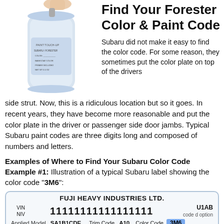[Figure (photo): Spray paint can for Subaru Forester touch-up paint, partially cropped at top]
Find Your Forester Color & Paint Code
Subaru did not make it easy to find the color code. For some reason, they sometimes put the color plate on top of the drivers side strut. Now, this is a ridiculous location but so it goes. In recent years, they have become more reasonable and put the color plate in the driver or passenger side door jambs. Typical Subaru paint codes are three digits long and composed of numbers and letters.
Examples of Where to Find Your Subaru Color Code
Example #1: Illustration of a typical Subaru label showing the color code "3M6":
[Figure (photo): Fuji Heavy Industries Ltd. vehicle label card showing VIN 11111111111111111, U1AB code d option, Applied Model SA1B1CDE, Trim Code A10, Color Code 3M6 (highlighted in blue), Model Concerne, Code de garniture Code de couteur, Engine Type EJ233BCDEF, Transmission Type partially visible]
Anonymous Suggestions?